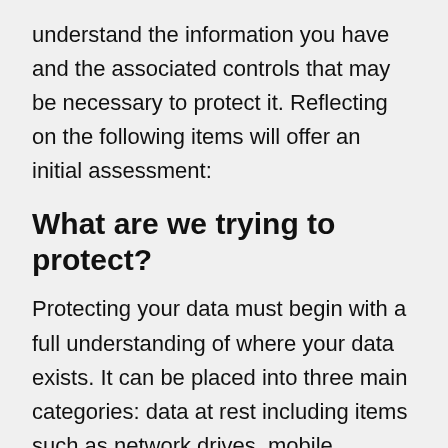understand the information you have and the associated controls that may be necessary to protect it. Reflecting on the following items will offer an initial assessment:
What are we trying to protect?
Protecting your data must begin with a full understanding of where your data exists. It can be placed into three main categories: data at rest including items such as network drives, mobile devices, thumb drives, and print outs; data in motion including emails, file transfers, conversations, and instant messages; and data that has been discarded on old computers,